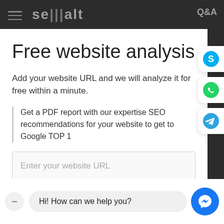semalt Q&A
Free website analysis
Add your website URL and we will analyze it for free within a minute.
Get a PDF report with our expertise SEO recommendations for your website to get to Google TOP 1
Enter your website URL
Analyze My Website
Hi! How can we help you?